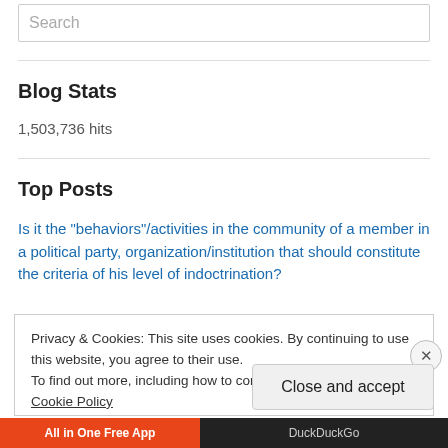Search
Blog Stats
1,503,736 hits
Top Posts
Is it the "behaviors"/activities in the community of a member in a political party, organization/institution that should constitute the criteria of his level of indoctrination?
Privacy & Cookies: This site uses cookies. By continuing to use this website, you agree to their use.
To find out more, including how to control cookies, see here: Cookie Policy
Close and accept